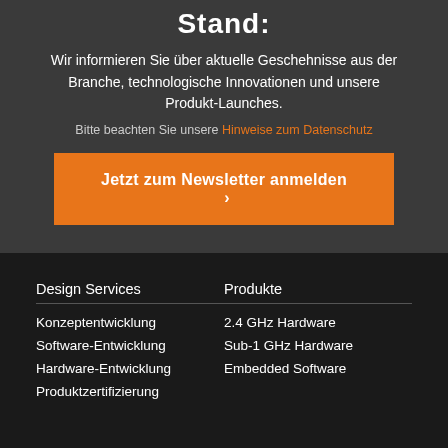Stand:
Wir informieren Sie über aktuelle Geschehnisse aus der Branche, technologische Innovationen und unsere Produkt-Launches.
Bitte beachten Sie unsere Hinweise zum Datenschutz
Jetzt zum Newsletter anmelden ›
Design Services
Konzeptentwicklung
Software-Entwicklung
Hardware-Entwicklung
Produktzertifizierung
Produkte
2.4 GHz Hardware
Sub-1 GHz Hardware
Embedded Software